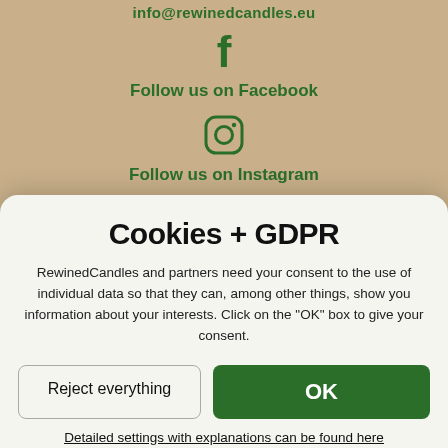info@rewinedcandles.eu
[Figure (illustration): Facebook icon (letter f)]
Follow us on Facebook
[Figure (illustration): Instagram icon (circle with camera outline)]
Follow us on Instagram
USEFUL INFORMATION
Cookies + GDPR
RewinedCandles and partners need your consent to the use of individual data so that they can, among other things, show you information about your interests. Click on the "OK" box to give your consent.
Reject everything
OK
Detailed settings with explanations can be found here